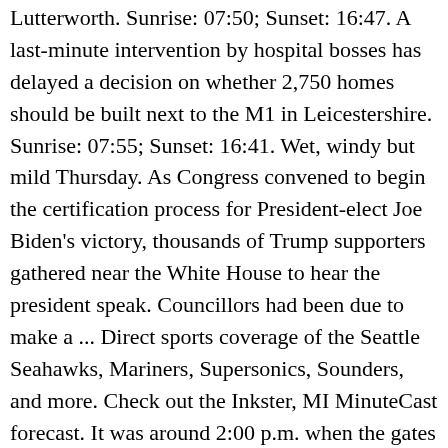Lutterworth. Sunrise: 07:50; Sunset: 16:47. A last-minute intervention by hospital bosses has delayed a decision on whether 2,750 homes should be built next to the M1 in Leicestershire. Sunrise: 07:55; Sunset: 16:41. Wet, windy but mild Thursday. As Congress convened to begin the certification process for President-elect Joe Biden's victory, thousands of Trump supporters gathered near the White House to hear the president speak. Councillors had been due to make a ... Direct sports coverage of the Seattle Seahawks, Mariners, Supersonics, Sounders, and more. Check out the Inkster, MI MinuteCast forecast. It was around 2:00 p.m. when the gates on the east and west sides of the Capitol were breached. Get Minute Forecast Applies to: S1 pricing tier. Use up and down arrows to change selection. Easy to understand display with accurate